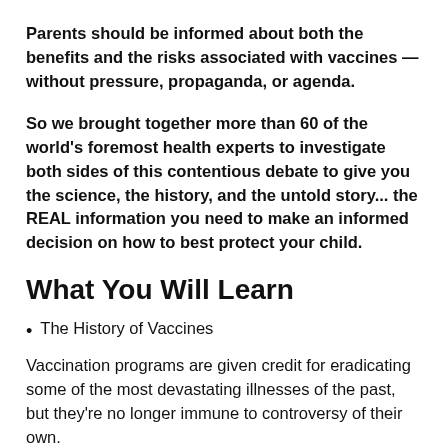Parents should be informed about both the benefits and the risks associated with vaccines — without pressure, propaganda, or agenda.
So we brought together more than 60 of the world's foremost health experts to investigate both sides of this contentious debate to give you the science, the history, and the untold story... the REAL information you need to make an informed decision on how to best protect your child.
What You Will Learn
The History of Vaccines
Vaccination programs are given credit for eradicating some of the most devastating illnesses of the past, but they're no longer immune to controversy of their own.
Vaccine Risks and Safety Concerns